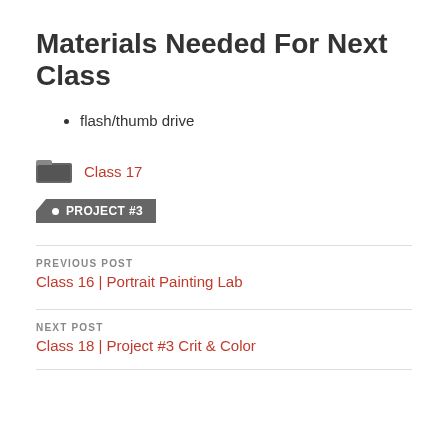Materials Needed For Next Class
flash/thumb drive
Class 17
PROJECT #3
PREVIOUS POST
Class 16 | Portrait Painting Lab
NEXT POST
Class 18 | Project #3 Crit & Color